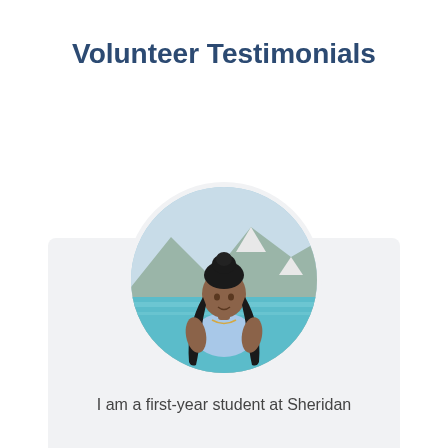Volunteer Testimonials
[Figure (photo): Circular portrait photo of a young woman with long braids, wearing a light blue off-shoulder top, standing in front of a mountain lake with turquoise water and snow-capped peaks in the background.]
I am a first-year student at Sheridan